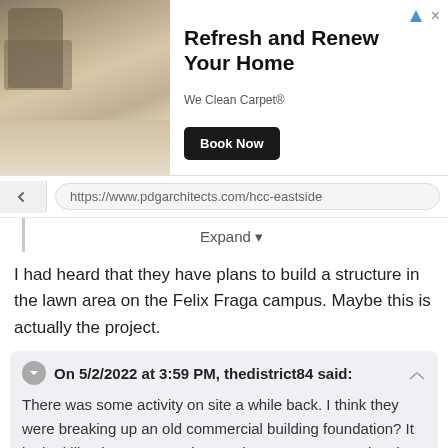[Figure (infographic): Advertisement banner for carpet cleaning service. Shows a living room with carpet on the left, with text 'Refresh and Renew Your Home', 'We Clean Carpet®', a 'Book Now' button, and ad icons in top right corner.]
https://www.pdgarchitects.com/hcc-eastside
Expand ▾
I had heard that they have plans to build a structure in the lawn area on the Felix Fraga campus. Maybe this is actually the project.
On 5/2/2022 at 3:59 PM, thedistrict84 said:
There was some activity on site a while back. I think they were breaking up an old commercial building foundation? It looked like they were getting ready to start construction, but not much has happened since.
Yeah, I definitely remember that, but I thought I saw some initial